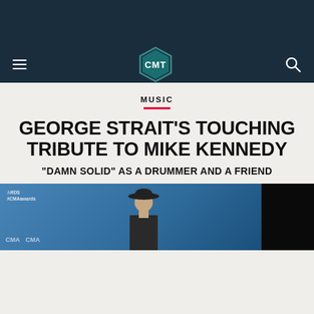CMT
MUSIC
GEORGE STRAIT'S TOUCHING TRIBUTE TO MIKE KENNEDY
"DAMN SOLID" AS A DRUMMER AND A FRIEND
[Figure (photo): Photo of a person wearing a cowboy hat at the CMA Awards, with blue background. Partially cropped with dark section on right.]